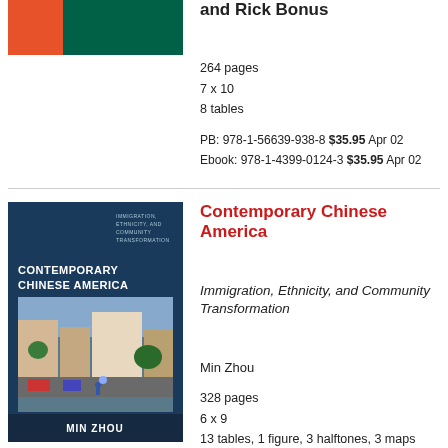[Figure (illustration): Book cover with orange and teal/green design]
and Rick Bonus
264 pages
7 x 10
8 tables
PB: 978-1-56639-938-8 $35.95 Apr 02
Ebook: 978-1-4399-0124-3 $35.95 Apr 02
[Figure (photo): Book cover: Contemporary Chinese America by Min Zhou, showing a street scene with buildings]
Contemporary Chinese America
Immigration, Ethnicity, and Community Transformation
Min Zhou
328 pages
6 x 9
13 tables, 1 figure, 3 halftones, 3 maps